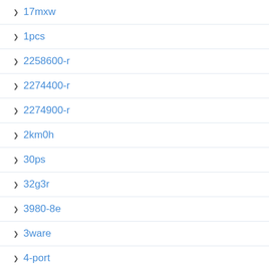17mxw
1pcs
2258600-r
2274400-r
2274900-r
2km0h
30ps
32g3r
3980-8e
3ware
4-port